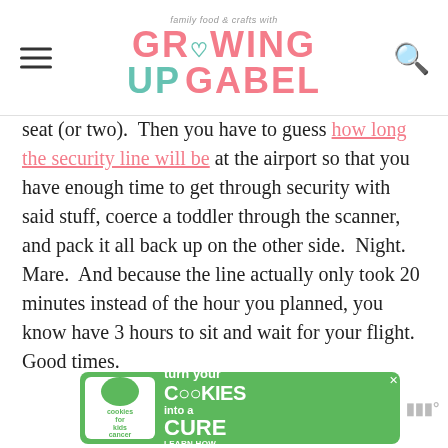family food & crafts with GROWING UP GABEL
seat (or two).  Then you have to guess how long the security line will be at the airport so that you have enough time to get through security with said stuff, coerce a toddler through the scanner, and pack it all back up on the other side.  Night. Mare.  And because the line actually only took 20 minutes instead of the hour you planned, you know have 3 hours to sit and wait for your flight. Good times.
[Figure (other): Advertisement banner: cookies for kids cancer - turn your cookies into a cure, learn how]